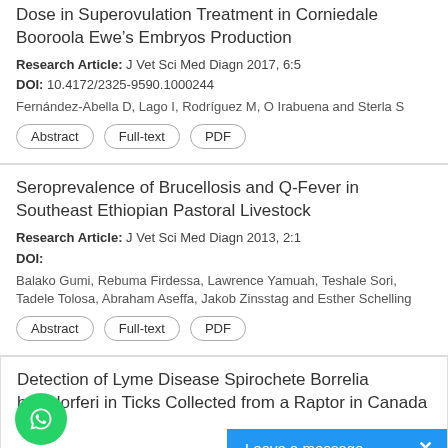Dose in Superovulation Treatment in Corniedale Booroola Ewe's Embryos Production
Research Article: J Vet Sci Med Diagn 2017, 6:5
DOI: 10.4172/2325-9590.1000244
Fernández-Abella D, Lago I, Rodríguez M, O Irabuena and Sterla S
Abstract | Full-text | PDF
Seroprevalence of Brucellosis and Q-Fever in Southeast Ethiopian Pastoral Livestock
Research Article: J Vet Sci Med Diagn 2013, 2:1
DOI:
Balako Gumi, Rebuma Firdessa, Lawrence Yamuah, Teshale Sori, Tadele Tolosa, Abraham Aseffa, Jakob Zinsstag and Esther Schelling
Abstract | Full-text | PDF
Detection of Lyme Disease Spirochete Borrelia burgdorferi in Ticks Collected from a Raptor in Canada
[Figure (other): WhatsApp chat button (green circle with phone icon) and 'Leave a message' blue bar with X close button overlaid on the bottom of the page]